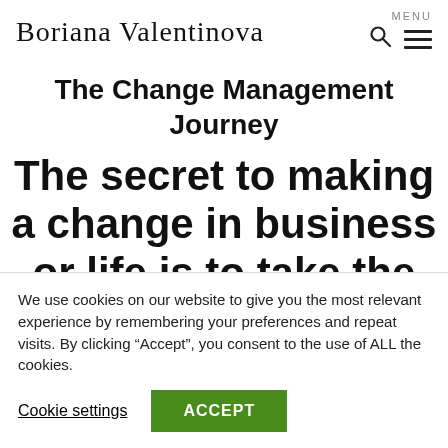Boriana Valentinova — MENU
The Change Management Journey
The secret to making a change in business or life is to take the
We use cookies on our website to give you the most relevant experience by remembering your preferences and repeat visits. By clicking “Accept”, you consent to the use of ALL the cookies.
Cookie settings | ACCEPT